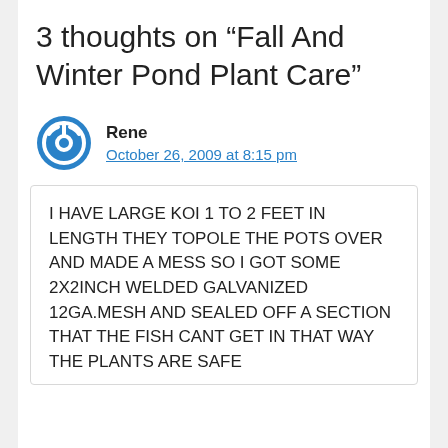3 thoughts on “Fall And Winter Pond Plant Care”
Rene
October 26, 2009 at 8:15 pm
I HAVE LARGE KOI 1 TO 2 FEET IN LENGTH THEY TOPOLE THE POTS OVER AND MADE A MESS SO I GOT SOME 2X2INCH WELDED GALVANIZED 12GA.MESH AND SEALED OFF A SECTION THAT THE FISH CANT GET IN THAT WAY THE PLANTS ARE SAFE